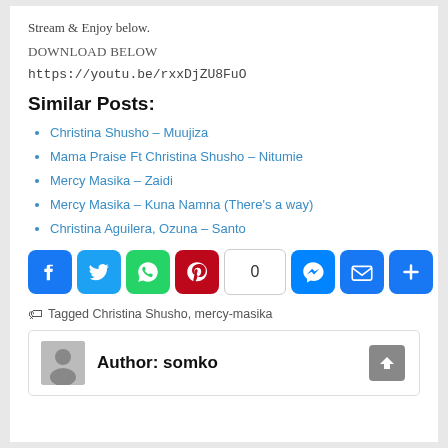Stream & Enjoy below.
DOWNLOAD BELOW
https://youtu.be/rxxDjZU8FuO
Similar Posts:
Christina Shusho – Muujiza
Mama Praise Ft Christina Shusho – Nitumie
Mercy Masika – Zaidi
Mercy Masika – Kuna Namna (There's a way)
Christina Aguilera, Ozuna – Santo
[Figure (infographic): Social share buttons: Facebook, Twitter, WhatsApp, Pinterest, share count 0, Messenger, Email, More]
Tagged Christina Shusho, mercy-masika
Author: somko